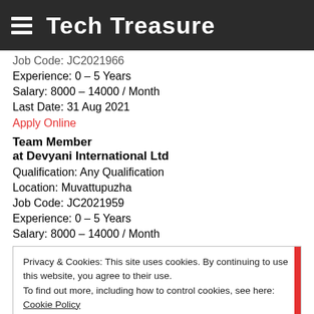Tech Treasure
Job Code: JC2021966
Experience: 0 – 5 Years
Salary: 8000 – 14000 / Month
Last Date: 31 Aug 2021
Apply Online
Team Member
at Devyani International Ltd
Qualification: Any Qualification
Location: Muvattupuzha
Job Code: JC2021959
Experience: 0 – 5 Years
Salary: 8000 – 14000 / Month
Privacy & Cookies: This site uses cookies. By continuing to use this website, you agree to their use. To find out more, including how to control cookies, see here: Cookie Policy
Close and accept
Location: Kochi